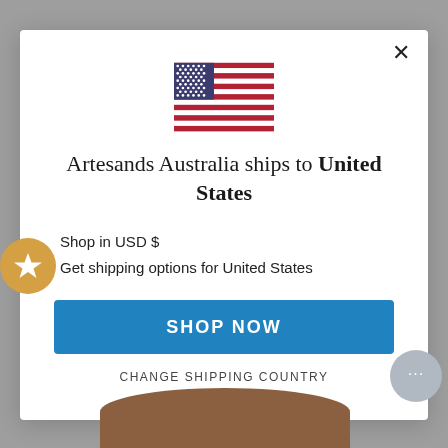[Figure (screenshot): Modal dialog showing a US flag, shipping country selector for Artesands Australia to United States, with Shop Now button and Change Shipping Country link]
Artesands Australia ships to United States
Shop in USD $
Get shipping options for United States
SHOP NOW
CHANGE SHIPPING COUNTRY